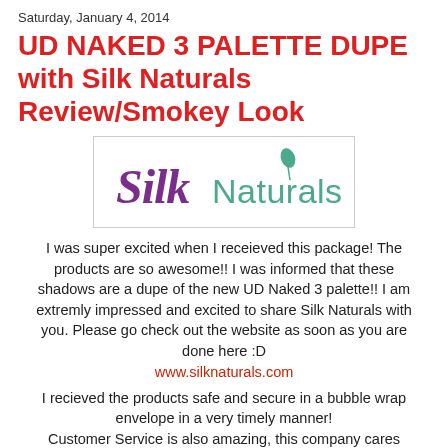Saturday, January 4, 2014
UD NAKED 3 PALETTE DUPE with Silk Naturals Review/Smokey Look
[Figure (logo): Silk Naturals logo — 'Silk' in purple cursive script, 'Naturals' in teal/green sans-serif with a small green leaf above the letter 'l']
I was super excited when I receieved this package! The products are so awesome!! I was informed that these shadows are a dupe of the new UD Naked 3 palette!! I am extremly impressed and excited to share Silk Naturals with you. Please go check out the website as soon as you are done here :D
www.silknaturals.com
I recieved the products safe and secure in a bubble wrap envelope in a very timely manner! Customer Service is also amazing, this company cares about its customers.